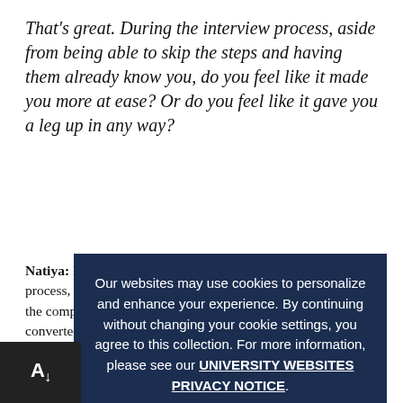That's great. During the interview process, aside from being able to skip the steps and having them already know you, do you feel like it made you more at ease? Or do you feel like it gave you a leg up in any way?
Natiya: I think I got a leg up because during the interview process, they actually reached out to me who were already in the company, who normally I would say that you've already converted someone in the interview, but here's some of the things they said when I would call into the interview, they heard so much about you. We've heard such good things. We're just hoping to clarify some points or just have you elaborate on other ones," so it would not be working off an empty slate. I kind of had a reputation built for me that was very positive so, it was really more them
Our websites may use cookies to personalize and enhance your experience. By continuing without changing your cookie settings, you agree to this collection. For more information, please see our UNIVERSITY WEBSITES PRIVACY NOTICE.
OK ✓